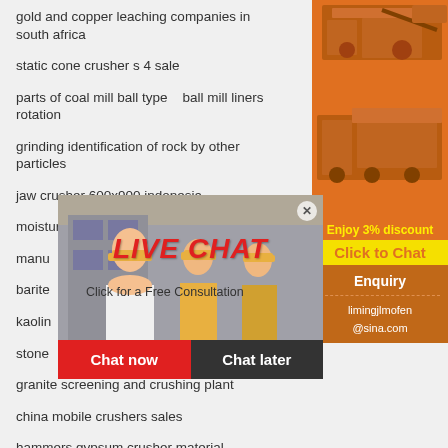gold and copper leaching companies in south africa
static cone crusher s 4 sale
parts of coal mill ball type   ball mill liners rotation
grinding identification of rock by other particles
jaw crusher 600x900 indonesia
moisture in stone coal on mining
manu…
barite…
kaolin…
stone…
granite screening and crushing plant
china mobile crushers sales
hammers gypsum crusher material
used caterpillar stone crusher for sale
additive grinding machines
portable ballast crushing machine
[Figure (screenshot): Live chat popup overlay with person in hard hat, LIVE CHAT heading, Click for a Free Consultation text, Chat now and Chat later buttons]
[Figure (screenshot): Orange sidebar with mining/crushing machinery images, Enjoy 3% discount, Click to Chat, Enquiry section, limingjlmofen@sina.com email]